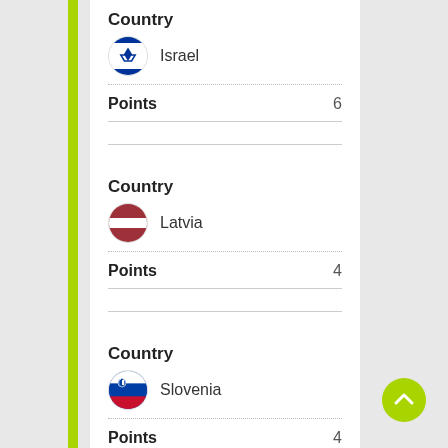Country
Israel
Points  6
Country
Latvia
Points  4
Country
Slovenia
Points  4
Country